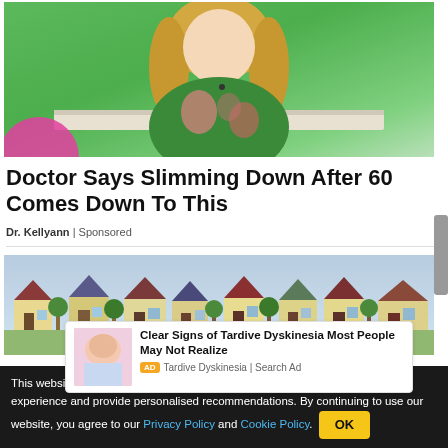[Figure (photo): Woman in green floral dress sitting in a TV studio setting with colorful background]
Doctor Says Slimming Down After 60 Comes Down To This
Dr. Kellyann | Sponsored
[Figure (illustration): Illustrated isometric neighborhood with houses and trees]
[Figure (photo): Ad: Clear Signs of Tardive Dyskinesia Most People May Not Realize - Tardive Dyskinesia | Search Ad]
This website uses cookie or similar technologies, to enhance your browsing experience and provide personalised recommendations. By continuing to use our website, you agree to our Privacy Policy and Cookie Policy. OK